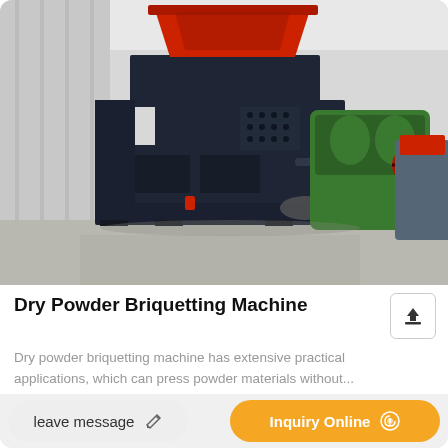[Figure (photo): Industrial dry powder briquetting machine in dark navy/black color with red hopper top, standing on a metal frame inside a factory. A green roller machine and other industrial equipment visible in the background.]
Dry Powder Briquetting Machine
Dry powder briquetting machine has extensive practical applications, which can press powder materials without...
leave message
Inquiry Online